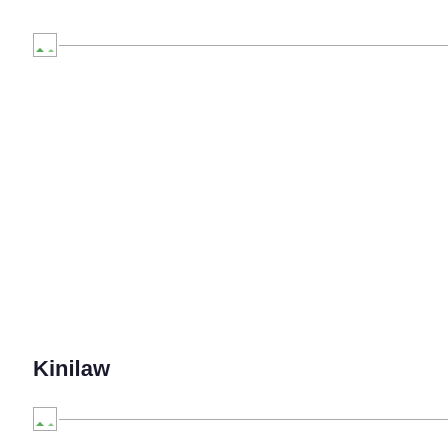[Figure (photo): Broken image placeholder with small icon at top of page, followed by a horizontal rule line]
Kinilaw
[Figure (photo): Broken image placeholder with small icon at bottom of page, followed by a horizontal rule line]